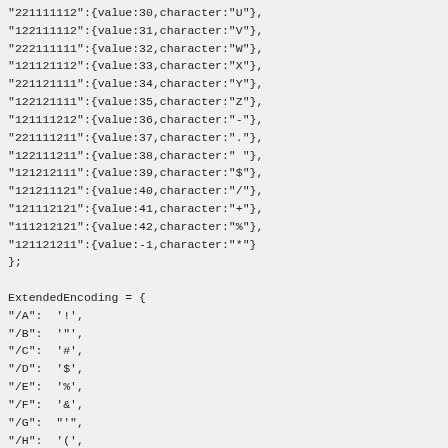"221111112":{value:30,character:"U"},
"122111112":{value:31,character:"V"},
"222111111":{value:32,character:"W"},
"121121112":{value:33,character:"X"},
"221121111":{value:34,character:"Y"},
"122121111":{value:35,character:"Z"},
"121111212":{value:36,character:"-"},
"221111211":{value:37,character:"."},
"122111211":{value:38,character:" "},
"121212111":{value:39,character:"$"},
"121211121":{value:40,character:"/"},
"121112121":{value:41,character:"+"},
"111212121":{value:42,character:"%"},
"121121211":{value:-1,character:"*"}
};

ExtendedEncoding = {
"/A":  '!',
"/B":  '"',
"/C":  '#',
"/D":  '$',
"/E":  '%',
"/F":  '&',
"/G":  "'",
"/H":  '(',
"/I":  ')',
"/J":  '*',
"/K":  '+',
"/L":  ',',
"/O":  '/',
"/Z":  ':',
"%F":  ';',